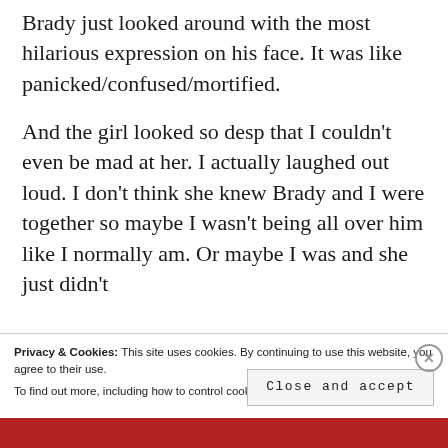Brady just looked around with the most hilarious expression on his face. It was like panicked/confused/mortified.
And the girl looked so desp that I couldn't even be mad at her. I actually laughed out loud. I don't think she knew Brady and I were together so maybe I wasn't being all over him like I normally am. Or maybe I was and she just didn't
Privacy & Cookies: This site uses cookies. By continuing to use this website, you agree to their use.
To find out more, including how to control cookies, see here: Cookie Policy
Close and accept